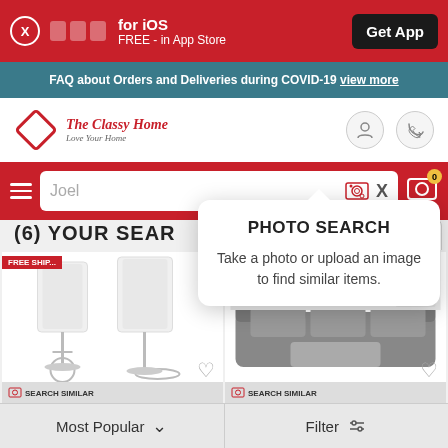[Figure (screenshot): App download banner: red background with X button, app icons, 'for iOS FREE - in App Store' text, and 'Get App' black button]
FAQ about Orders and Deliveries during COVID-19 view more
[Figure (logo): The Classy Home logo with diamond shape and tagline 'Love Your Home']
Joel
PHOTO SEARCH
Take a photo or upload an image to find similar items.
(6) YOUR SEAR...
FREE SHIP...
[Figure (photo): White bar stools product image]
[Figure (photo): Gray sectional sofa product image]
SEARCH SIMILAR
SEARCH SIMILAR
Most Popular
Filter